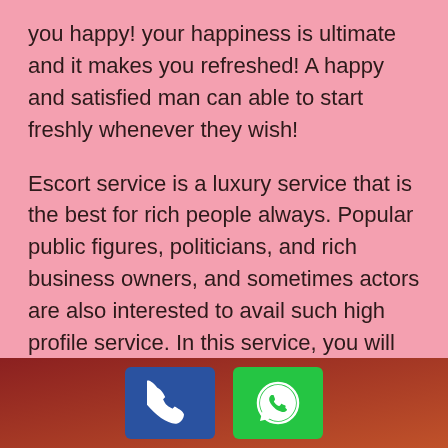you happy! your happiness is ultimate and it makes you refreshed! A happy and satisfied man can able to start freshly whenever they wish!
Escort service is a luxury service that is the best for rich people always. Popular public figures, politicians, and rich business owners, and sometimes actors are also interested to avail such high profile service. In this service, you will get something more which normal adult service unable to offer! Enjoy luxury hotel, room service, spa, massage service, her company, and many more things that make your night romantic and unforgettable. Enjoy every moment and make yourself happy! Find the best hot deal and
[Figure (other): Phone call button (blue) and WhatsApp button (green) in a dark red/brown footer bar]